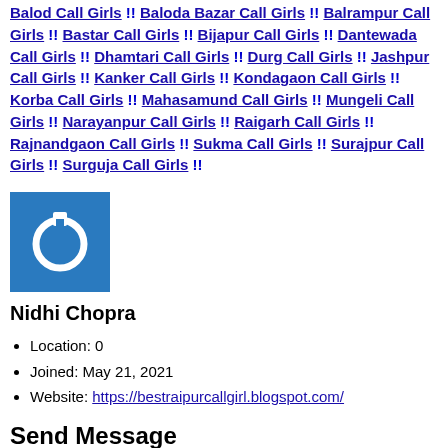Balod Call Girls !! Baloda Bazar Call Girls !! Balrampur Call Girls !! Bastar Call Girls !! Bijapur Call Girls !! Dantewada Call Girls !! Dhamtari Call Girls !! Durg Call Girls !! Jashpur Call Girls !! Kanker Call Girls !! Kondagaon Call Girls !! Korba Call Girls !! Mahasamund Call Girls !! Mungeli Call Girls !! Narayanpur Call Girls !! Raigarh Call Girls !! Rajnandgaon Call Girls !! Sukma Call Girls !! Surajpur Call Girls !! Surguja Call Girls !!
[Figure (logo): Blue square with white power button icon]
Nidhi Chopra
Location: 0
Joined: May 21, 2021
Website: https://bestraipurcallgirl.blogspot.com/
Send Message